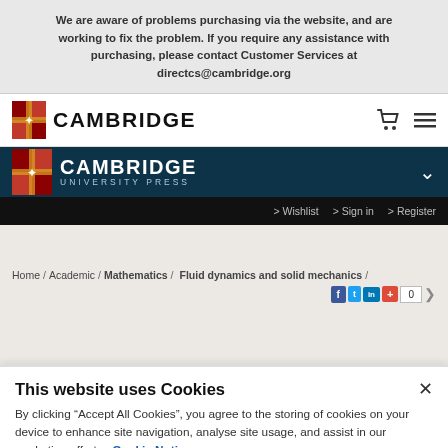We are aware of problems purchasing via the website, and are working to fix the problem. If you require any assistance with purchasing, please contact Customer Services at directcs@cambridge.org
[Figure (logo): Cambridge University Press logo on white nav bar with cart and menu icons]
[Figure (logo): Cambridge University Press logo on dark teal background with chevron]
> Wishlist  > Sign in  > Register
Home / Academic / Mathematics / Fluid dynamics and solid mechanics /
[Figure (screenshot): Social share buttons: Facebook, Twitter, LinkedIn, Google+, count 0]
This website uses Cookies
By clicking “Accept All Cookies”, you agree to the storing of cookies on your device to enhance site navigation, analyse site usage, and assist in our marketing efforts.  Cookie Notice